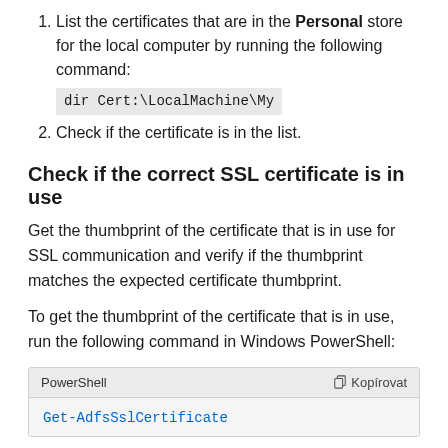List the certificates that are in the Personal store for the local computer by running the following command: dir Cert:\LocalMachine\My
Check if the certificate is in the list.
Check if the correct SSL certificate is in use
Get the thumbprint of the certificate that is in use for SSL communication and verify if the thumbprint matches the expected certificate thumbprint.
To get the thumbprint of the certificate that is in use, run the following command in Windows PowerShell:
[Figure (screenshot): PowerShell code block with header showing 'PowerShell' label and 'Kopírovat' copy button, containing the command: Get-AdfsSslCertificate]